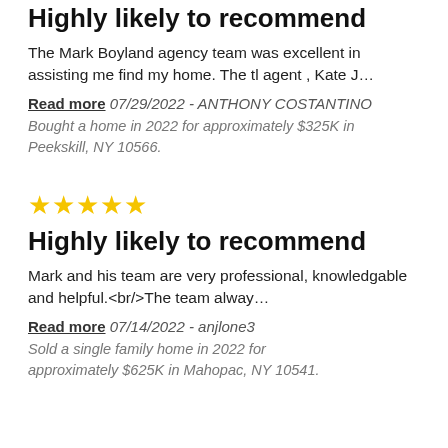Highly likely to recommend
The Mark Boyland agency team was excellent in assisting me find my home. The tl agent , Kate J…
Read more 07/29/2022 - ANTHONY COSTANTINO
Bought a home in 2022 for approximately $325K in Peekskill, NY 10566.
[Figure (other): Five gold star rating icons]
Highly likely to recommend
Mark and his team are very professional, knowledgable and helpful.<br/>The team alway…
Read more 07/14/2022 - anjlone3
Sold a single family home in 2022 for approximately $625K in Mahopac, NY 10541.